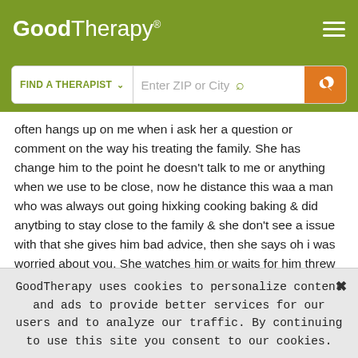GoodTherapy®
[Figure (screenshot): GoodTherapy website search bar with 'FIND A THERAPIST' dropdown and 'Enter ZIP or City' input field with orange search button]
often hangs up on me when i ask her a question or comment on the way his treating the family. She has change him to the point he doesn't talk to me or anything when we use to be close, now he distance this waa a man who was always out going hixking cooking baking & did anytbing to stay close to the family & she don't see a issue with that she gives him bad advice, then she says oh i was worried about you. She watches him or waits for him threw the window when we get there. I sit outside since she dont want me there. shes by the window as if she was waiting on him .To me that not normal , she often text him about what i dont know . He has
GoodTherapy uses cookies to personalize content and ads to provide better services for our users and to analyze our traffic. By continuing to use this site you consent to our cookies.